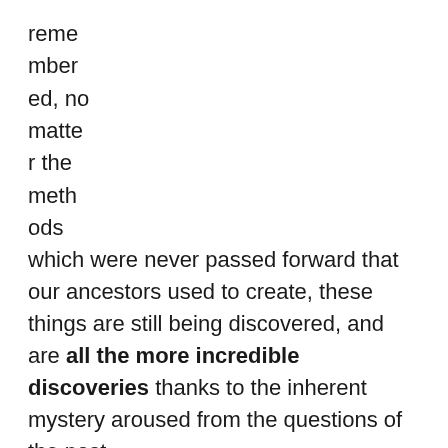reme
mber
ed, no
matte
r the
meth
ods
which were never passed forward that our ancestors used to create, these things are still being discovered, and are all the more incredible discoveries thanks to the inherent mystery aroused from the questions of the past.
Various discoveries throughout the past century have baffled our scientists. From all